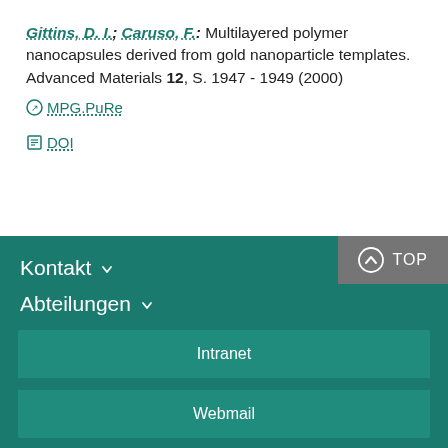Gittins, D. I.; Caruso, F.: Multilayered polymer nanocapsules derived from gold nanoparticle templates. Advanced Materials 12, S. 1947 - 1949 (2000)
MPG.PuRe  DOI
Kontakt  Abteilungen  Intranet  Webmail  TOP